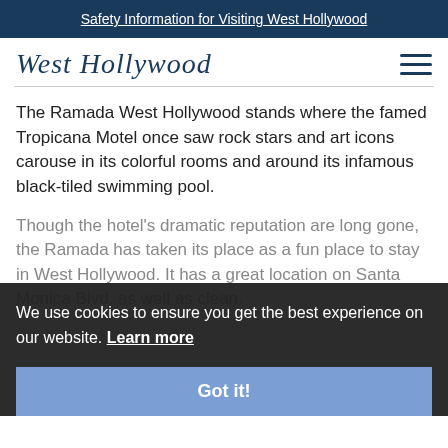Safety Information for Visiting West Hollywood
[Figure (logo): West Hollywood cursive logo and hamburger menu icon]
The Ramada West Hollywood stands where the famed Tropicana Motel once saw rock stars and art icons carouse in its colorful rooms and around its infamous black-tiled swimming pool.
Though the hotel's dramatic reputation are long gone, the Ramada has taken its place as a fun place to stay in West Hollywood. It has a great location on Santa Monica Blvd, as well as clean.
We use cookies to ensure you get the best experience on our website. Learn more
Got it!